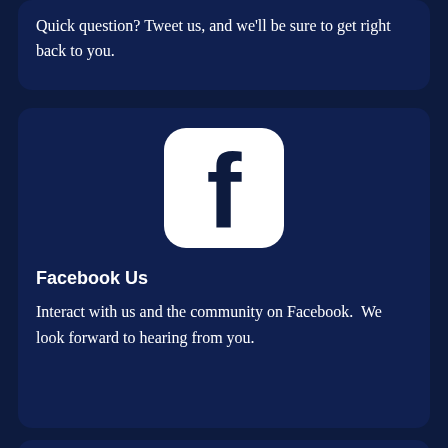Quick question? Tweet us, and we'll be sure to get right back to you.
[Figure (logo): Facebook app icon: white rounded square with dark navy lowercase letter f]
Facebook Us
Interact with us and the community on Facebook.  We look forward to hearing from you.